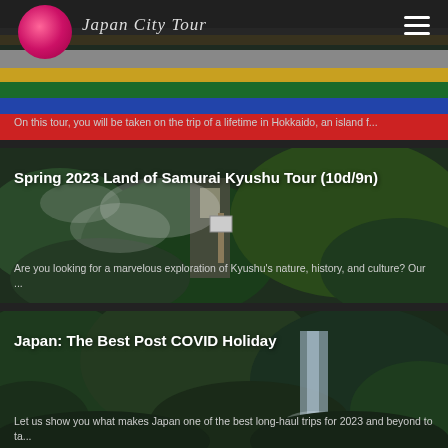Japan City Tour
[Figure (photo): Colorful striped textile/landscape photo with navbar overlay showing Japan City Tour logo and hamburger menu]
On this tour, you will be taken on the trip of a lifetime in Hokkaido, an island f...
[Figure (photo): Aerial view of misty mountain gorge with green jungle vegetation, steam rising]
Spring 2023 Land of Samurai Kyushu Tour (10d/9n)
Are you looking for a marvelous exploration of Kyushu's nature, history, and culture? Our ...
[Figure (photo): Lush green jungle with waterfall in background]
Japan: The Best Post COVID Holiday
Let us show you what makes Japan one of the best long-haul trips for 2023 and beyond to ta...